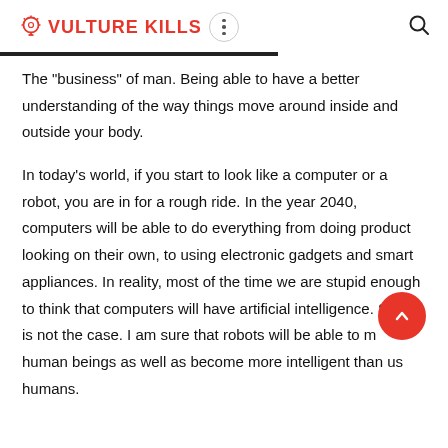VULTURE KILLS
The "business" of man. Being able to have a better understanding of the way things move around inside and outside your body.
In today’s world, if you start to look like a computer or a robot, you are in for a rough ride. In the year 2040, computers will be able to do everything from doing product looking on their own, to using electronic gadgets and smart appliances. In reality, most of the time we are stupid enough to think that computers will have artificial intelligence. Such is not the case. I am sure that robots will be able to mimic human beings as well as become more intelligent than us humans.